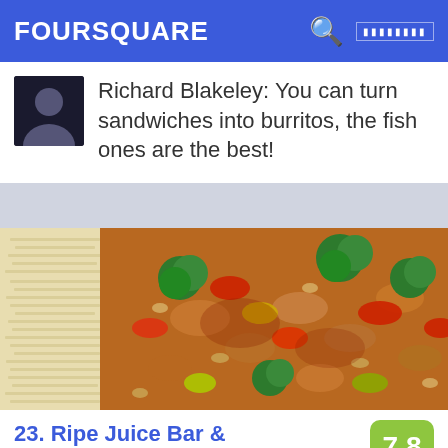FOURSQUARE
Richard Blakeley: You can turn sandwiches into burritos, the fish ones are the best!
[Figure (photo): Food photo showing a stir-fry dish with chicken, broccoli, red peppers, and other vegetables with nuts served alongside white rice on a wooden board]
23. Ripe Juice Bar & Grill  7.8
7013 Austin St (btwn 70th Ave. & 70th St.), Forest Hills, NY